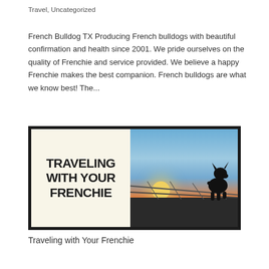Travel, Uncategorized
French Bulldog TX  Producing French bulldogs with beautiful confirmation and health since 2001. We pride ourselves on the quality of Frenchie and service provided. We believe a happy Frenchie makes the best companion. French bulldogs are what we know best! The...
[Figure (illustration): Split image: left half is a cream/off-white background with bold black uppercase text reading TRAVELING WITH YOUR FRENCHIE; right half shows a silhouette of a French bulldog standing on a ledge against a colorful sunset sky with orange, blue and pink tones.]
Traveling with Your Frenchie